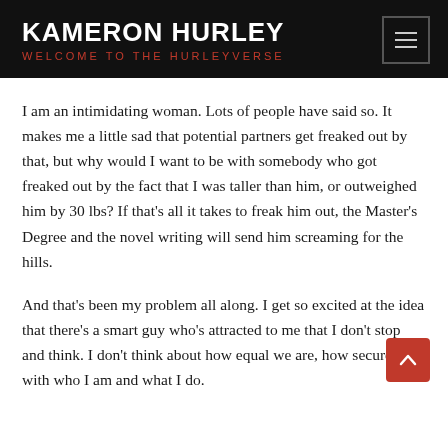KAMERON HURLEY — WELCOME TO THE HURLEYVERSE
I am an intimidating woman. Lots of people have said so. It makes me a little sad that potential partners get freaked out by that, but why would I want to be with somebody who got freaked out by the fact that I was taller than him, or outweighed him by 30 lbs? If that's all it takes to freak him out, the Master's Degree and the novel writing will send him screaming for the hills.
And that's been my problem all along. I get so excited at the idea that there's a smart guy who's attracted to me that I don't stop and think. I don't think about how equal we are, how secure he is with who I am and what I do.